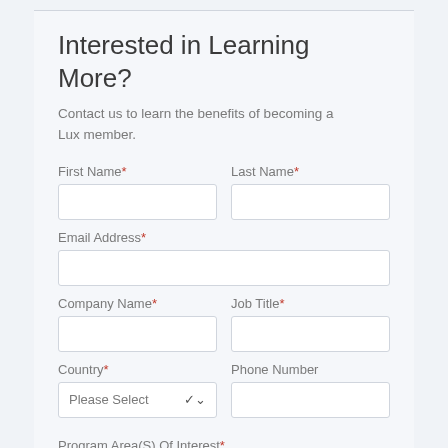Interested in Learning More?
Contact us to learn the benefits of becoming a Lux member.
First Name* | Last Name*
Email Address*
Company Name* | Job Title*
Country* | Phone Number
Program Area(S) Of Interest*